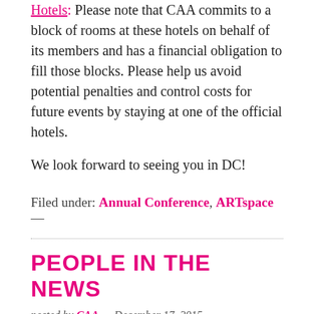Hotels: Please note that CAA commits to a block of rooms at these hotels on behalf of its members and has a financial obligation to fill those blocks. Please help us avoid potential penalties and control costs for future events by staying at one of the official hotels.
We look forward to seeing you in DC!
Filed under: Annual Conference, ARTspace —
PEOPLE IN THE NEWS
posted by CAA — December 17, 2015
People in the News lists new hires, positions, and promotions in three sections: Academe, Museums and Galleries, and Organizations and Publications.